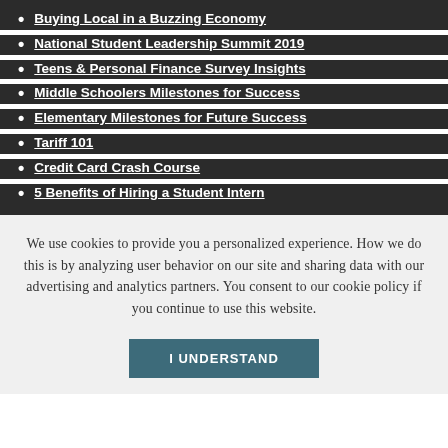Buying Local in a Buzzing Economy
National Student Leadership Summit 2019
Teens & Personal Finance Survey Insights
Middle Schoolers Milestones for Success
Elementary Milestones for Future Success
Tariff 101
Credit Card Crash Course
5 Benefits of Hiring a Student Intern
We use cookies to provide you a personalized experience. How we do this is by analyzing user behavior on our site and sharing data with our advertising and analytics partners. You consent to our cookie policy if you continue to use this website.
I UNDERSTAND